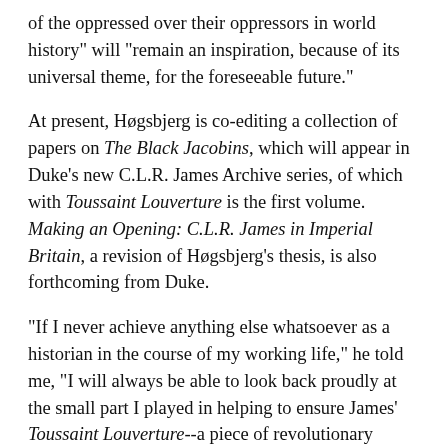of the oppressed over their oppressors in world history" will "remain an inspiration, because of its universal theme, for the foreseeable future."
At present, Høgsbjerg is co-editing a collection of papers on The Black Jacobins, which will appear in Duke's new C.L.R. James Archive series, of which with Toussaint Louverture is the first volume. Making an Opening: C.L.R. James in Imperial Britain, a revision of Høgsbjerg's thesis, is also forthcoming from Duke.
"If I never achieve anything else whatsoever as a historian in the course of my working life," he told me, "I will always be able to look back proudly at the small part I played in helping to ensure James' Toussaint Louverture--a piece of revolutionary literature--was out there, once again, for people to read, enjoy, learn from and indeed perhaps one day restage."
Again with the self-deprecation! But he's got something to be modest about.